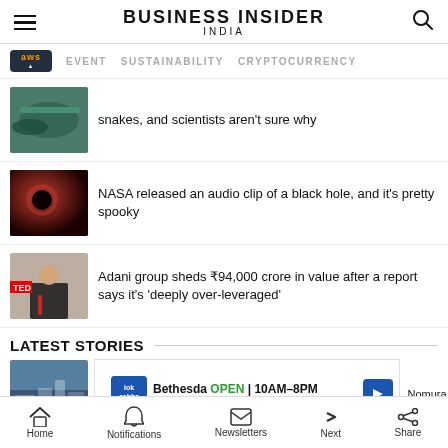BUSINESS INSIDER INDIA
EVENT
SUSTAINABILITY
CRYPTOCURRENCY
snakes, and scientists aren't sure why
NASA released an audio clip of a black hole, and it's pretty spooky
Adani group sheds ₹94,000 crore in value after a report says it's 'deeply over-leveraged'
LATEST STORIES
[Figure (screenshot): Advertisement banner: Bethesda OPEN 10AM-8PM, 7101 Democracy Boulevard, #2418, Bet]
Home  Notifications  Newsletters  Next  Share